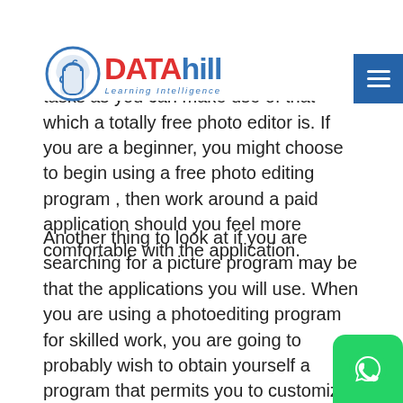DATAhill — Learning Intelligence (logo and navigation header)
want to try some of the paid photo editing programs. These will allow you to have the ability to do lots of more tasks as you can make use of that which a totally free photo editor is. If you are a beginner, you might choose to begin using a free photo editing program , then work around a paid application should you feel more comfortable with the application.
Another thing to look at if you are searching for a picture program may be that the applications you will use. When you are using a photoediting program for skilled work, you are going to probably wish to obtain yourself a program that permits you to customize your images, like changing the background of an image.
Once you have used a free photo editing app, then you'll have the ability to make better looking pictures and enhance them together with different effects. When you have used a paid application for a while, you're going to learn those that are very best for you personally aren't going to have to look around too much to your new free photo editing app.